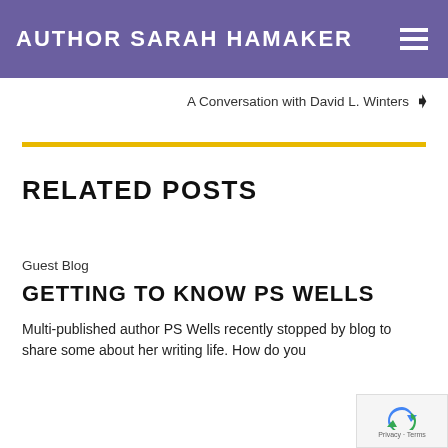AUTHOR SARAH HAMAKER
A Conversation with David L. Winters
RELATED POSTS
Guest Blog
GETTING TO KNOW PS WELLS
Multi-published author PS Wells recently stopped by blog to share some about her writing life. How do you